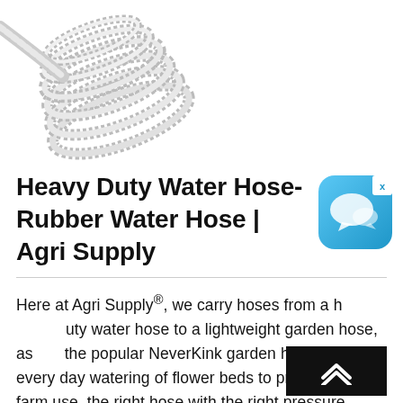[Figure (photo): A coiled white/grey heavy duty corrugated water hose, shown diagonally on a white background, upper left area of the page.]
Heavy Duty Water Hose-Rubber Water Hose | Agri Supply
[Figure (screenshot): Blue rounded-square chat/messaging app icon with speech bubble icons, with an X close button in the top-right corner.]
Here at Agri Supply®, we carry hoses from a heavy duty water hose to a lightweight garden hose, as well as the popular NeverKink garden hose. From every day watering of flower beds to professional farm use, the right hose with the right pressure capacity, size, and construction is vital to your task. We also offer a rubber water hose that can be used with hot or cold water, ...